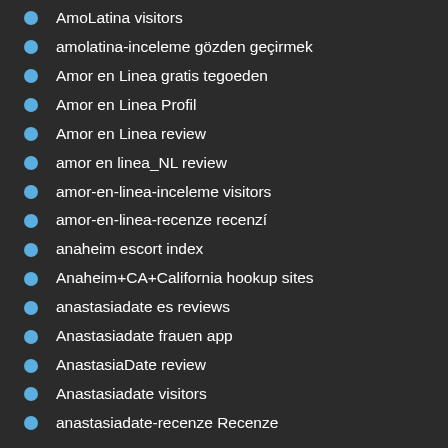AmoLatina visitors
amolatina-inceleme gözden geçirmek
Amor en Linea gratis tegoeden
Amor en Linea Profil
Amor en Linea review
amor en linea_NL review
amor-en-linea-inceleme visitors
amor-en-linea-recenze recenzí
anaheim escort index
Anaheim+CA+California hookup sites
anastasiadate es reviews
Anastasiadate frauen app
AnastasiaDate review
Anastasiadate visitors
anastasiadate-recenze Recenze